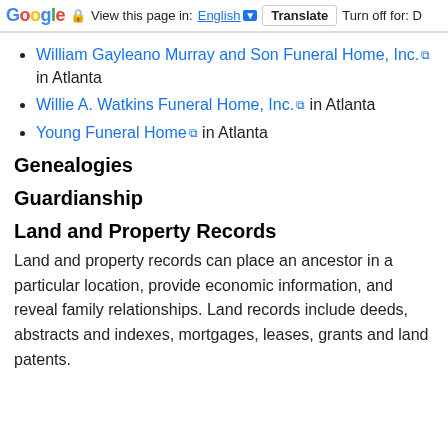Google | View this page in: English | Translate | Turn off for: D
William Gayleano Murray and Son Funeral Home, Inc. [external link] in Atlanta
Willie A. Watkins Funeral Home, Inc. [external link] in Atlanta
Young Funeral Home [external link] in Atlanta
Genealogies
Guardianship
Land and Property Records
Land and property records can place an ancestor in a particular location, provide economic information, and reveal family relationships. Land records include deeds, abstracts and indexes, mortgages, leases, grants and land patents.